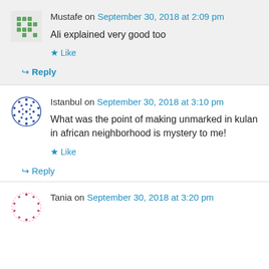Mustafe on September 30, 2018 at 2:09 pm
Ali explained very good too
Like
Reply
Istanbul on September 30, 2018 at 3:10 pm
What was the point of making unmarked in kulan in african neighborhood is mystery to me!
Like
Reply
Tania on September 30, 2018 at 3:20 pm